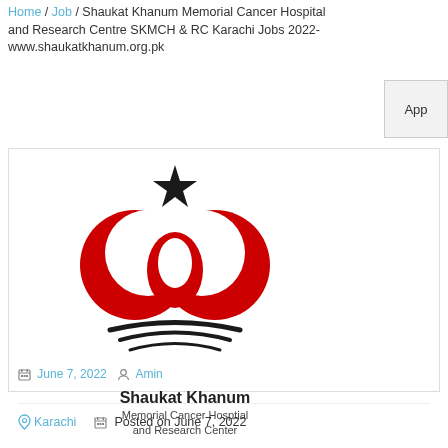Home / Job / Shaukat Khanum Memorial Cancer Hospital and Research Centre SKMCH & RC Karachi Jobs 2022- www.shaukatkhanum.org.pk
[Figure (logo): Shaukat Khanum Memorial Cancer Hospital and Research Center logo: red double-crescent infinity-like symbol with black star on top and black arc lines below, with text 'Shaukat Khanum Memorial Cancer Hosptial and Research Center']
June 7, 2022  Amin
Karachi   Posted on June 7, 2022